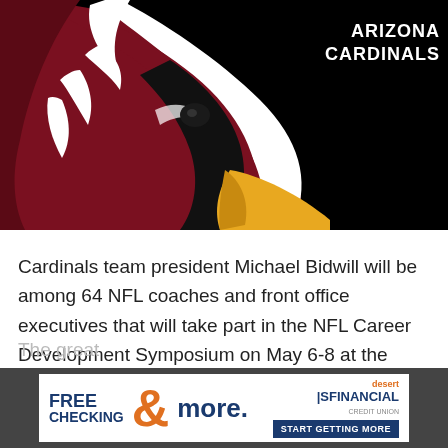[Figure (logo): Arizona Cardinals NFL team logo on black background — stylized cardinal bird head in dark red/maroon with white outline and gold beak, partially cropped. Text 'ARIZONA CARDINALS' in white bold uppercase on the right side.]
Cardinals team president Michael Bidwill will be among 64 NFL coaches and front office executives that will take part in the NFL Career Development Symposium on May 6-8 at the Wharton School of Business on the campus of the University of Pennsylvania.
[Figure (other): Desert Financial advertisement banner: 'FREE CHECKING & more.' with orange ampersand graphic, Desert Financial logo top right, 'START GETTING MORE' button.]
The gre... ...eral